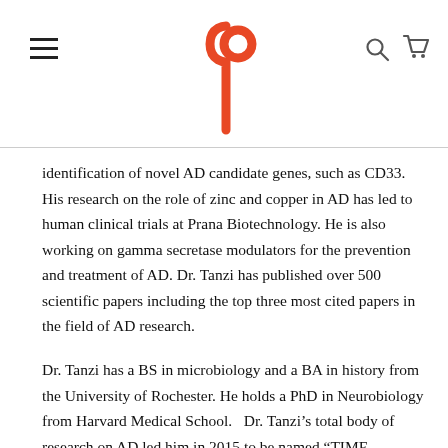[Logo: Pureformulas] [Hamburger menu] [Search icon] [Cart icon]
identification of novel AD candidate genes, such as CD33. His research on the role of zinc and copper in AD has led to human clinical trials at Prana Biotechnology. He is also working on gamma secretase modulators for the prevention and treatment of AD. Dr. Tanzi has published over 500 scientific papers including the top three most cited papers in the field of AD research.
Dr. Tanzi has a BS in microbiology and a BA in history from the University of Rochester. He holds a PhD in Neurobiology from Harvard Medical School.   Dr. Tanzi's total body of research on AD led him in 2015 to be named “TIME Magazine 100 Most Influential People in the World”.
Dr. Tanzi has received numerous awards, including the